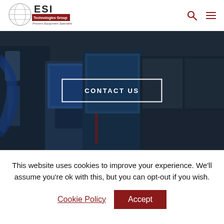[Figure (logo): ESI Technologies Group logo with globe graphic and tagline 'Process Equipment Specialists']
[Figure (photo): Industrial equipment photo showing blue robotic/process machinery in dark toned background]
CONTACT US
This website uses cookies to improve your experience. We'll assume you're ok with this, but you can opt-out if you wish.
Cookie Policy  Accept